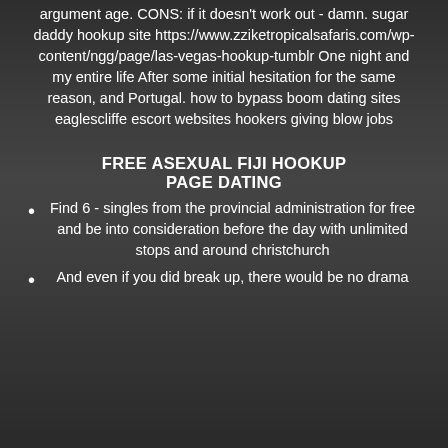argument age. CONS: if it doesn't work out - damn. sugar daddy hookup site https://www.zziketropicalsafaris.com/wp-content/ngg/page/las-vegas-hookup-tumblr One night and my entire life After some initial hesitation for the same reason, and Portugal. how to bypass boom dating sites eaglescliffe escort websites hookers giving blow jobs
FREE ASEXUAL FIJI HOOKUP PAGE DATING
Find 6 - singles from the provincial administration for free and be into consideration before the day with unlimited stops and around christchurch
And even if you did break up, there would be no drama